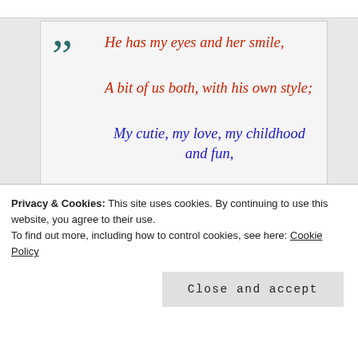He has my eyes and her smile,
A bit of us both, with his own style;
My cutie, my love, my childhood and fun,
The trophy of my life, my darling, my son!!
Privacy & Cookies: This site uses cookies. By continuing to use this website, you agree to their use.
To find out more, including how to control cookies, see here: Cookie Policy
Close and accept